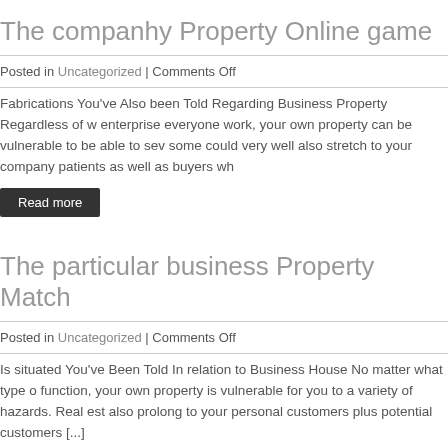The companhy Property Online game
Posted in Uncategorized | Comments Off
Fabrications You've Also been Told Regarding Business Property Regardless of w enterprise everyone work, your own property can be vulnerable to be able to sev some could very well also stretch to your company patients as well as buyers wh
Read more
The particular business Property Match
Posted in Uncategorized | Comments Off
Is situated You've Been Told In relation to Business House No matter what type o function, your own property is vulnerable for you to a variety of hazards. Real est also prolong to your personal customers plus potential customers [...]
Read more
This company Property Activity